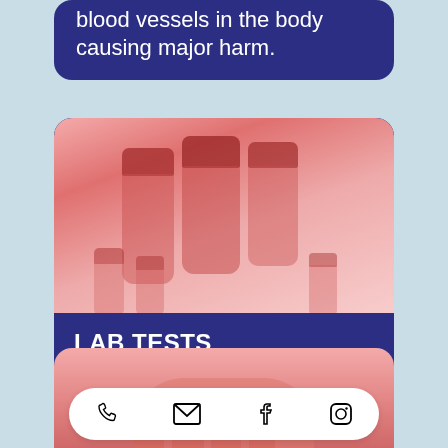blood vessels in the body causing major harm.
[Figure (photo): Photo of medical lab vials/test tubes with red-tinted caps against a pink background]
LAB TESTS
Blood tests can be ordered to help determine a patient's risk for cardiovascular disease.
[Figure (photo): Partial photo at bottom, pink/red tinted, with a white toolbar showing phone, email, Facebook, and Instagram icons]